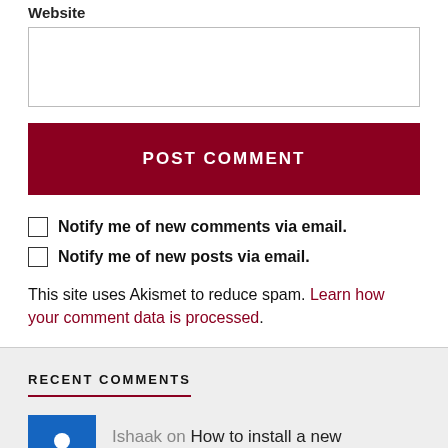Website
POST COMMENT
Notify me of new comments via email.
Notify me of new posts via email.
This site uses Akismet to reduce spam. Learn how your comment data is processed.
RECENT COMMENTS
Ishaak on How to install a new launcher...